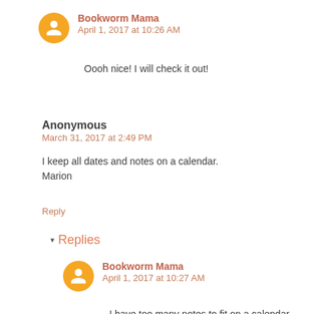Bookworm Mama
April 1, 2017 at 10:26 AM
Oooh nice! I will check it out!
Anonymous
March 31, 2017 at 2:49 PM
I keep all dates and notes on a calendar. Marion
Reply
Replies
Bookworm Mama
April 1, 2017 at 10:27 AM
I have too many notes to fit on a calendar now hehe